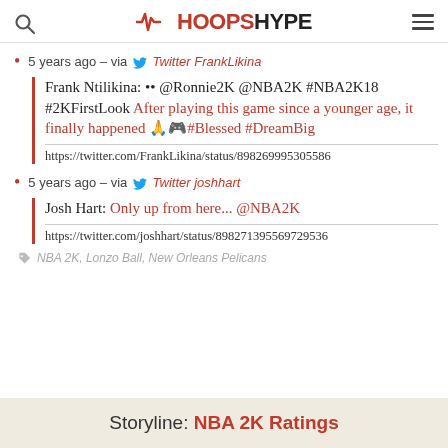HOOPSHYPE
5 years ago – via Twitter FrankLikina
Frank Ntilikina: •• @Ronnie2K @NBA2K #NBA2K18 #2KFirstLook After playing this game since a younger age, it finally happened 🙏🎮#Blessed #DreamBig
https://twitter.com/FrankLikina/status/898269995305586
5 years ago – via Twitter joshhart
Josh Hart: Only up from here... @NBA2K
https://twitter.com/joshhart/status/898271395569729536
NBA 2K, Lonzo Ball, New Orleans Pelicans
Storyline: NBA 2K Ratings